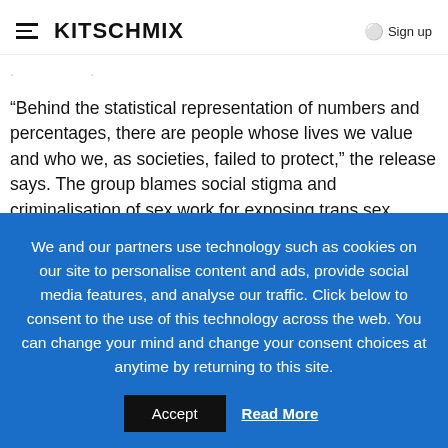KITSCHMIX  Sign up
· ·
“Behind the statistical representation of numbers and percentages, there are people whose lives we value and who we, as societies, failed to protect,” the release says. The group blames social stigma and criminalisation of sex work for exposing trans sex workers to exploitation and violence, while adding that
We and our partners use technology such as cookies on our site to personalise content and ads, provide social media features, and analyse our traffic. Click below to consent to the use of this technology across the web. You can change your mind and change your consent choices at anytime by returning to this site.
Accept  Read More